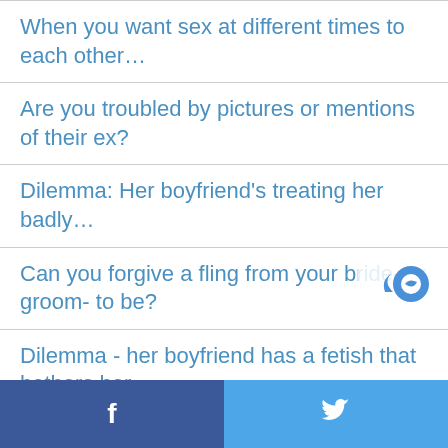When you want sex at different times to each other…
Are you troubled by pictures or mentions of their ex?
Dilemma: Her boyfriend's treating her badly…
Can you forgive a fling from your bride- or groom- to be?
Dilemma - her boyfriend has a fetish that bothers her…
Tips for when she has problems reaching climax and GIVEAWAY
Facebook | Twitter